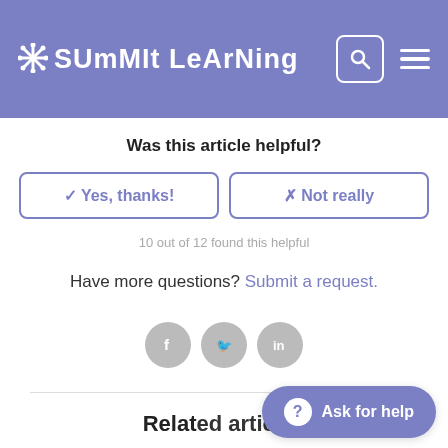[Figure (logo): Summit Learning logo with asterisk/snowflake icon and stylized text in white on purple/blue header background, with search and hamburger menu icons on the right]
Was this article helpful?
✓ Yes, thanks!
✗ Not really
10 out of 12 found this helpful
Have more questions? Submit a request.
[Figure (infographic): Three gray social media icons: Facebook (f), Twitter (bird), LinkedIn (in)]
Related articles
How do I use the